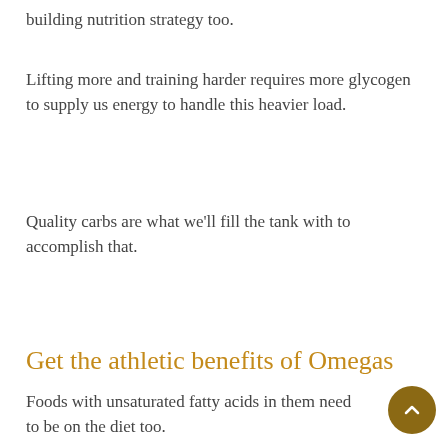building nutrition strategy too.
Lifting more and training harder requires more glycogen to supply us energy to handle this heavier load.
Quality carbs are what we'll fill the tank with to accomplish that.
Get the athletic benefits of Omegas
Foods with unsaturated fatty acids in them need to be on the diet too.